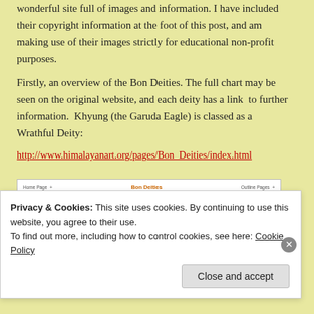wonderful site full of images and information. I have included their copyright information at the foot of this post, and am making use of their images strictly for educational non-profit purposes.
Firstly, an overview of the Bon Deities. The full chart may be seen on the original website, and each deity has a link to further information. Khyung (the Garuda Eagle) is classed as a Wrathful Deity:
http://www.himalayanart.org/pages/Bon_Deities/index.html
[Figure (screenshot): Screenshot of himalayanart.org Bon Deities page showing navigation links including Bon Religion Main Page, Bon Religion Outline Page, Technical Glossary, and a General Topics button, with a partial image of a deity on the right.]
Privacy & Cookies: This site uses cookies. By continuing to use this website, you agree to their use.
To find out more, including how to control cookies, see here: Cookie Policy
Close and accept